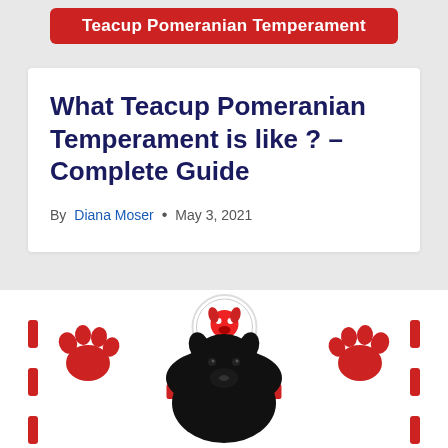[Figure (illustration): Red banner with white bold text reading 'Teacup Pomeranian Temperament' with red decorative dash borders on sides]
What Teacup Pomeranian Temperament is like ? – Complete Guide
By Diana Moser • May 3, 2021
[Figure (photo): Website section with red paw print decorations on left and right, a circular logo for Teacup Pomeranian Dog website in center with a red CLOSE button and URL bar showing www.teac...ndog.com, and a black Pomeranian dog photo below]